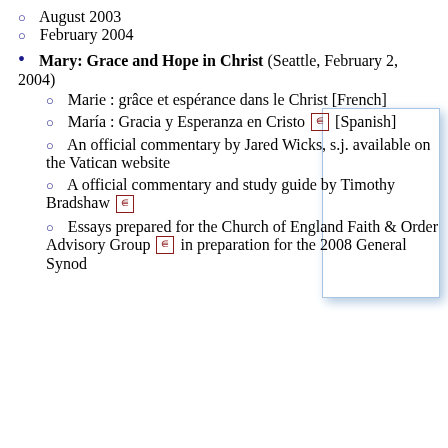August 2003
February 2004
Mary: Grace and Hope in Christ (Seattle, February 2, 2004)
Marie : grâce et espérance dans le Christ [French]
María : Gracia y Esperanza en Cristo [Spanish]
An official commentary by Jared Wicks, s.j. available on the Vatican website
A official commentary and study guide by Timothy Bradshaw
Essays prepared for the Church of England Faith & Order Advisory Group in preparation for the 2008 General Synod
[Figure (other): White rectangle/image box with light blue border and shadow, positioned top right]